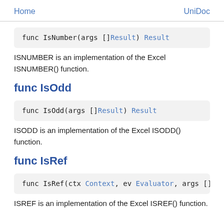Home    UniDoc
ISNUMBER is an implementation of the Excel ISNUMBER() function.
func IsOdd
ISODD is an implementation of the Excel ISODD() function.
func IsRef
ISREF is an implementation of the Excel ISREF() function.